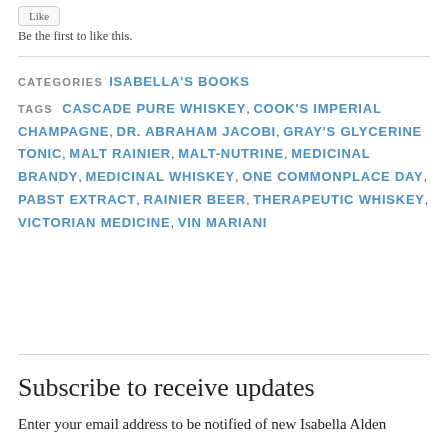Be the first to like this.
CATEGORIES  ISABELLA'S BOOKS
TAGS  CASCADE PURE WHISKEY, COOK'S IMPERIAL CHAMPAGNE, DR. ABRAHAM JACOBI, GRAY'S GLYCERINE TONIC, MALT RAINIER, MALT-NUTRINE, MEDICINAL BRANDY, MEDICINAL WHISKEY, ONE COMMONPLACE DAY, PABST EXTRACT, RAINIER BEER, THERAPEUTIC WHISKEY, VICTORIAN MEDICINE, VIN MARIANI
Subscribe to receive updates
Enter your email address to be notified of new Isabella Alden